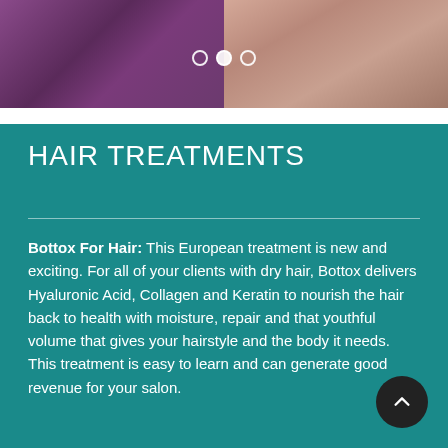[Figure (photo): Two photo panels side by side: left shows a woman in purple lace clothing, right shows a woman with dark hair. Slider navigation dots visible in the middle.]
HAIR TREATMENTS
Bottox For Hair: This European treatment is new and exciting. For all of your clients with dry hair, Bottox delivers Hyaluronic Acid, Collagen and Keratin to nourish the hair back to health with moisture, repair and that youthful volume that gives your hairstyle and the body it needs. This treatment is easy to learn and can generate good revenue for your salon.